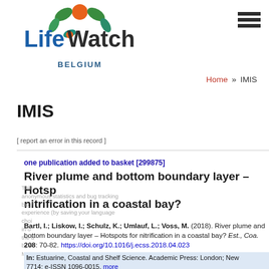[Figure (logo): LifeWatch Belgium logo with colorful fruit/leaf design and orange circle]
[Figure (other): Hamburger menu icon (three horizontal lines)]
Home » IMIS
IMIS
[ report an error in this record ]
one publication added to basket [299875]
River plume and bottom boundary layer – Hotspots for nitrification in a coastal bay?
Bartl, I.; Liskow, I.; Schulz, K.; Umlauf, L.; Voss, M. (2018). River plume and bottom boundary layer – Hotspots for nitrification in a coastal bay? Est., Coa. 208: 70-82. https://doi.org/10.1016/j.ecss.2018.04.023
In: Estuarine, Coastal and Shelf Science. Academic Press: London; New York. ISSN 0272-7714; e-ISSN 1096-0015, more